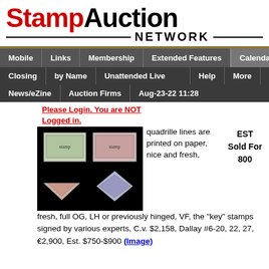[Figure (logo): StampAuction Network logo with red Stamp, black Auction, and NETWORK text with horizontal lines]
Mobile | Links | Membership | Extended Features | Calendars
Closing | by Name | Unattended Live | Help | More
News/eZine | Auction Firms | Aug-23-22 11:28
Please Login. You are NOT Logged in.
[Figure (photo): Black background with four stamps: two rectangular stamps on top and two diamond/triangular shaped stamps below]
quadrille lines are printed on paper, nice and fresh, full OG, LH or previously hinged, VF, the "key" stamps signed by various experts, C.v. $2,158, Dallay #6-20, 22, 27, €2,900, Est. $750-$900 (Image)
EST
Sold For
800